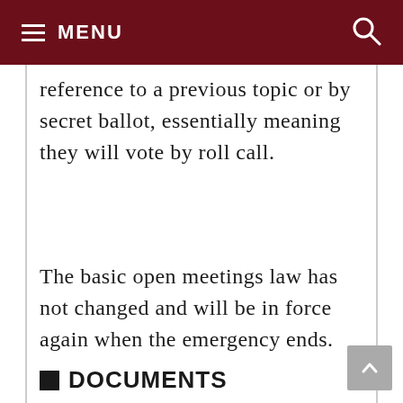MENU
reference to a previous topic or by secret ballot, essentially meaning they will vote by roll call.
The basic open meetings law has not changed and will be in force again when the emergency ends.
DOCUMENTS